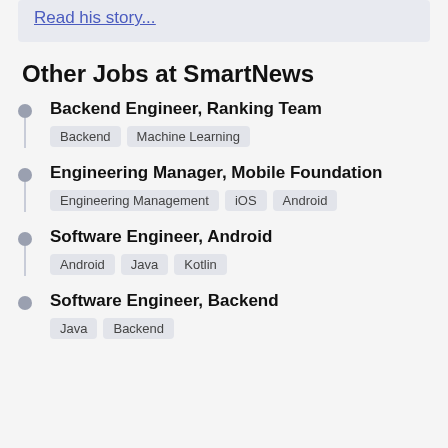Read his story...
Other Jobs at SmartNews
Backend Engineer, Ranking Team — Backend, Machine Learning
Engineering Manager, Mobile Foundation — Engineering Management, iOS, Android
Software Engineer, Android — Android, Java, Kotlin
Software Engineer, Backend — Java, Backend